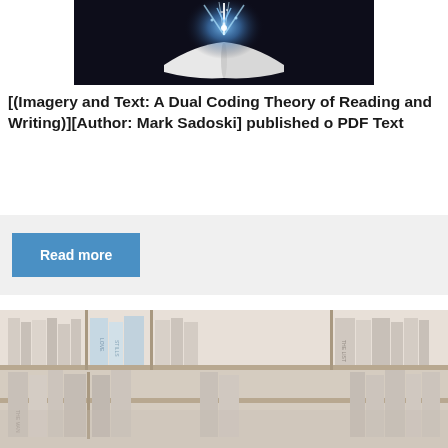[Figure (photo): Open book with magical glowing light rays and sparkles emanating from the pages against a dark background]
[(Imagery and Text: A Dual Coding Theory of Reading and Writing)][Author: Mark Sadoski] published o PDF Text
Read more
[Figure (photo): Bookshelf with multiple books arranged on shelves, faded/washed out appearance]